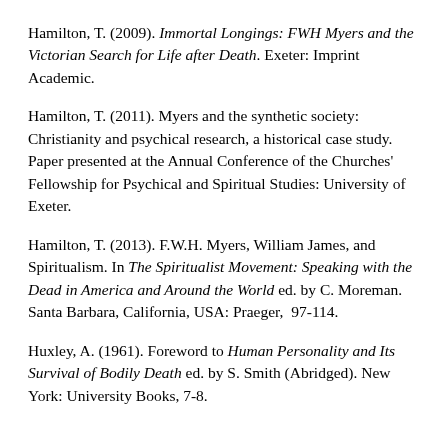Hamilton, T. (2009). Immortal Longings: FWH Myers and the Victorian Search for Life after Death. Exeter: Imprint Academic.
Hamilton, T. (2011). Myers and the synthetic society: Christianity and psychical research, a historical case study. Paper presented at the Annual Conference of the Churches' Fellowship for Psychical and Spiritual Studies: University of Exeter.
Hamilton, T. (2013). F.W.H. Myers, William James, and Spiritualism. In The Spiritualist Movement: Speaking with the Dead in America and Around the World ed. by C. Moreman. Santa Barbara, California, USA: Praeger, 97-114.
Huxley, A. (1961). Foreword to Human Personality and Its Survival of Bodily Death ed. by S. Smith (Abridged). New York: University Books, 7-8.